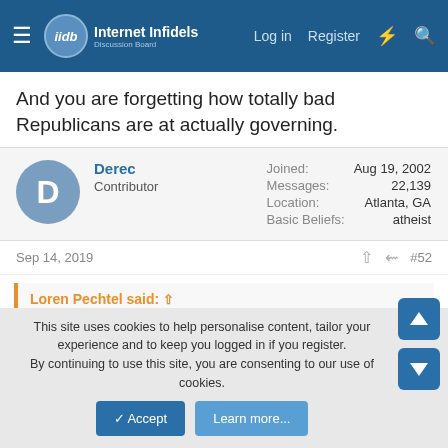Internet Infidels — Log in  Register
And you are forgetting how totally bad Republicans are at actually governing.
Derec
Contributor
Joined: Aug 19, 2002
Messages: 22,139
Location: Atlanta, GA
Basic Beliefs: atheist
Sep 14, 2019  #52
Loren Pechtel said: ↑
They're still paying normal income tax on those gains.
Isn't it capital gains tax rather than normal income tax?
This site uses cookies to help personalise content, tailor your experience and to keep you logged in if you register.
By continuing to use this site, you are consenting to our use of cookies.